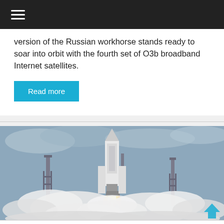Navigation menu header bar
version of the Russian workhorse stands ready to soar into orbit with the fourth set of O3b broadband Internet satellites.
Read more
[Figure (photo): A rocket launching from a launch pad with two tall lightning rods on either side, surrounded by large plumes of white smoke and fire. The rocket appears to be a Falcon 9, capturing the moment of liftoff against a grey cloudy sky.]